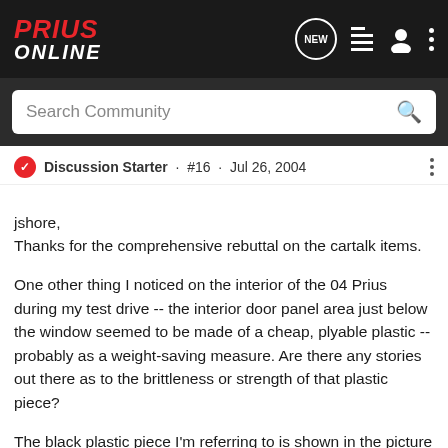Prius Online
Search Community
Discussion Starter · #16 · Jul 26, 2004
jshore,
Thanks for the comprehensive rebuttal on the cartalk items.

One other thing I noticed on the interior of the 04 Prius during my test drive -- the interior door panel area just below the window seemed to be made of a cheap, plyable plastic -- probably as a weight-saving measure. Are there any stories out there as to the brittleness or strength of that plastic piece?

The black plastic piece I'm referring to is shown in the picture below on the driver-side door panel just below the window and above the beige left arm rest:
http://www.priusonline.com/album_pic.php?pic_id=20